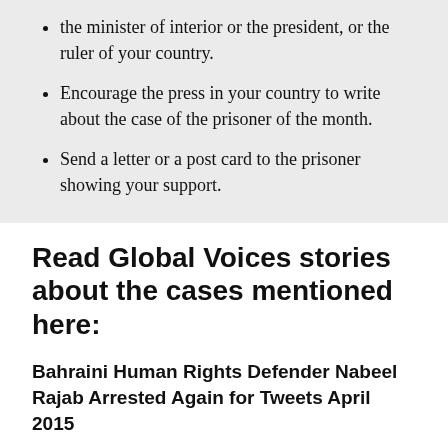the minister of interior or the president, or the ruler of your country.
Encourage the press in your country to write about the case of the prisoner of the month.
Send a letter or a post card to the prisoner showing your support.
Read Global Voices stories about the cases mentioned here:
Bahraini Human Rights Defender Nabeel Rajab Arrested Again for Tweets April 2015
What Drives Blasphemy Charges in the Middle East? (It's Not Just Religion) Jan. 2015
Bahrain's Prominent Human Rights Activist Arrested for Criticising Police Defector Wh…